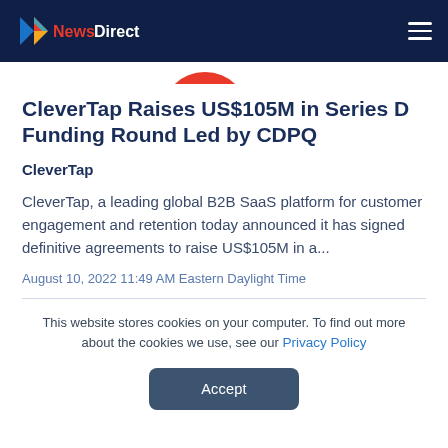NewsDirect
[Figure (logo): NewsDirect logo with colorful arrow/diamond icon on dark navy background header bar]
[Figure (illustration): Partial red circular logo/icon at top of content area]
CleverTap Raises US$105M in Series D Funding Round Led by CDPQ
CleverTap
CleverTap, a leading global B2B SaaS platform for customer engagement and retention today announced it has signed definitive agreements to raise US$105M in a...
August 10, 2022 11:49 AM Eastern Daylight Time
This website stores cookies on your computer. To find out more about the cookies we use, see our Privacy Policy
Accept